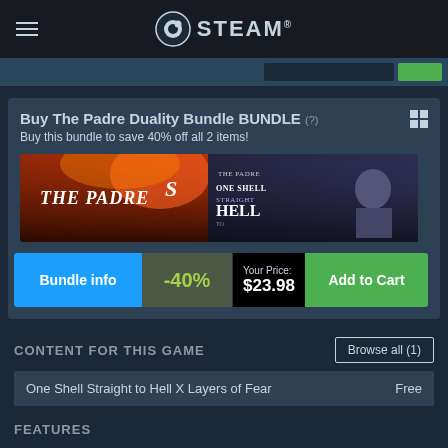STEAM®
[Figure (screenshot): Steam store page showing bundle purchase section with game thumbnails for The Padre and One Shell Straight to Hell]
Buy The Padre Duality Bundle BUNDLE (?) Buy this bundle to save 40% off all 2 items!
Bundle info -40% Your Price: $23.98 Add to Cart
CONTENT FOR THIS GAME
Browse all (1)
One Shell Straight to Hell X Layers of Fear   Free
FEATURES